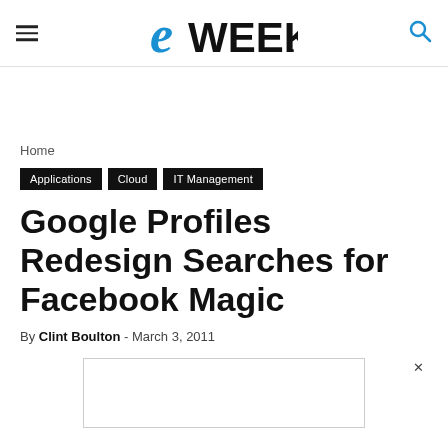eWEEK
Home
Applications
Cloud
IT Management
Google Profiles Redesign Searches for Facebook Magic
By Clint Boulton - March 3, 2011